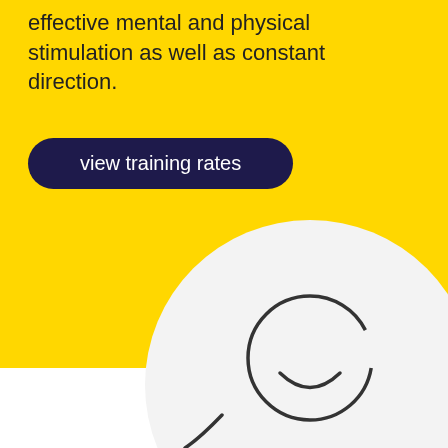effective mental and physical stimulation as well as constant direction.
view training rates
[Figure (illustration): A large white circle containing a smaller dark-outline circle with a smile shape inside it, and a curved line extending outside the large circle to the lower left — suggesting a simplified smiley face / dog character illustration on a yellow background.]